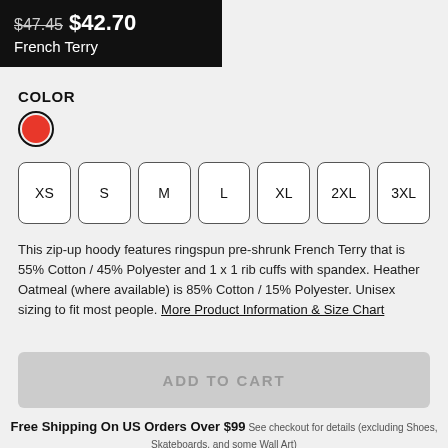$47.45 $42.70 French Terry
COLOR
XS S M L XL 2XL 3XL
This zip-up hoody features ringspun pre-shrunk French Terry that is 55% Cotton / 45% Polyester and 1 x 1 rib cuffs with spandex. Heather Oatmeal (where available) is 85% Cotton / 15% Polyester. Unisex sizing to fit most people. More Product Information & Size Chart
ADD TO CART
Free Shipping On US Orders Over $99 See checkout for details (excluding Shoes, Skateboards, and some Wall Art)